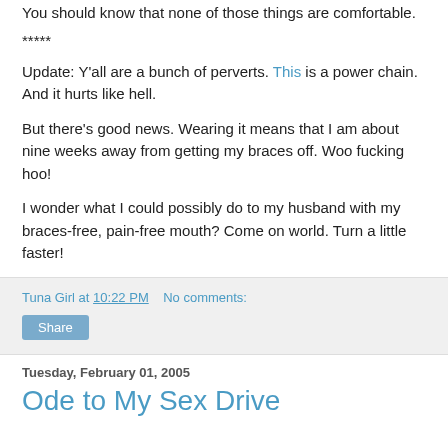You should know that none of those things are comfortable.
*****
Update: Y'all are a bunch of perverts. This is a power chain. And it hurts like hell.
But there's good news. Wearing it means that I am about nine weeks away from getting my braces off. Woo fucking hoo!
I wonder what I could possibly do to my husband with my braces-free, pain-free mouth? Come on world. Turn a little faster!
Tuna Girl at 10:22 PM   No comments:
Share
Tuesday, February 01, 2005
Ode to My Sex Drive